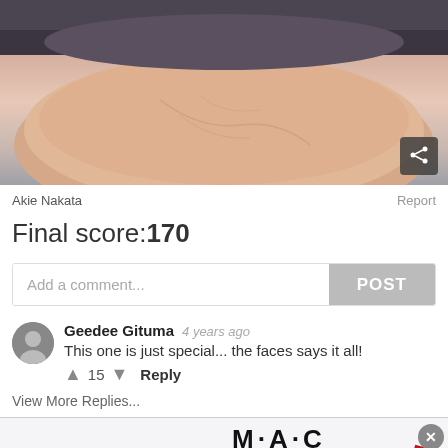[Figure (photo): Close-up photo of a hand holding something, dark knit fabric visible at top, skin tones dominant]
Akie Nakata
Report
Final score:170
Add a comment...
POST
Geedee Gituma  4 years ago
This one is just special... the faces says it all!
15  Reply
View More Replies...
[Figure (photo): MAC cosmetics advertisement banner with lipsticks (purple, pink, hot pink, red) and SHOP NOW button]